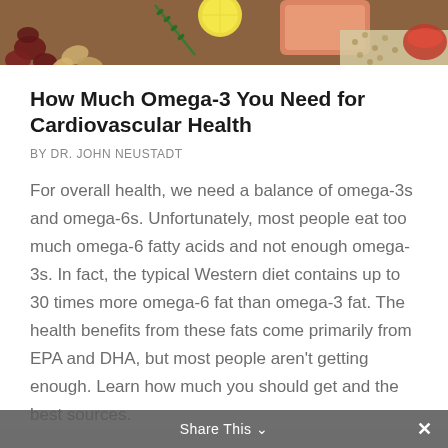[Figure (photo): Overhead view of various healthy foods including nuts, seeds, lemon, rosemary, salmon, and spices on a wooden board]
How Much Omega-3 You Need for Cardiovascular Health
BY DR. JOHN NEUSTADT
For overall health, we need a balance of omega-3s and omega-6s. Unfortunately, most people eat too much omega-6 fatty acids and not enough omega-3s. In fact, the typical Western diet contains up to 30 times more omega-6 fat than omega-3 fat. The health benefits from these fats come primarily from EPA and DHA, but most people aren't getting enough. Learn how much you should get and the best sources.